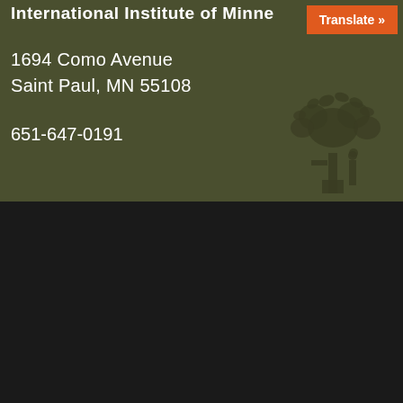International Institute of Minne
Translate »
1694 Como Avenue
Saint Paul, MN 55108
651-647-0191
[Figure (logo): Tree silhouette with 'Ii' letters forming the trunk — International Institute of Minnesota logo]
[Figure (logo): USCRI — U.S. Committee for Refugees and Immigrants logo with stripes graphic]
[Figure (logo): United Way Community Partner logo with rainbow/hands icon in box]
Community Partner
[Figure (logo): Saint Paul Community Literacy Consortium logo with eagle wings]
[Figure (logo): Charities Review Council — Meets Standards — smartgivers.org badge]